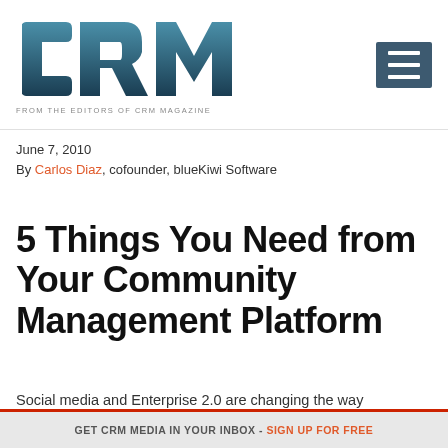[Figure (logo): CRM Magazine logo — large bold 'CRM' letters in dark teal/steel blue gradient, with tagline 'FROM THE EDITORS OF CRM MAGAZINE' below in small caps]
June 7, 2010
By Carlos Diaz, cofounder, blueKiwi Software
5 Things You Need from Your Community Management Platform
Social media and Enterprise 2.0 are changing the way companies define, manage and engage with
GET CRM MEDIA IN YOUR INBOX - SIGN UP FOR FREE